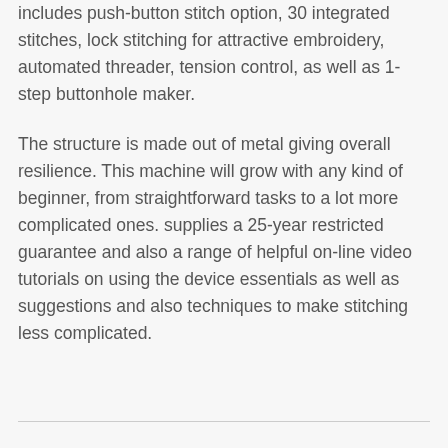includes push-button stitch option, 30 integrated stitches, lock stitching for attractive embroidery, automated threader, tension control, as well as 1-step buttonhole maker.
The structure is made out of metal giving overall resilience. This machine will grow with any kind of beginner, from straightforward tasks to a lot more complicated ones. supplies a 25-year restricted guarantee and also a range of helpful on-line video tutorials on using the device essentials as well as suggestions and also techniques to make stitching less complicated.